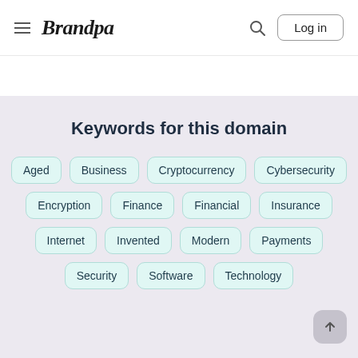Brandpa — Log in
Keywords for this domain
Aged
Business
Cryptocurrency
Cybersecurity
Encryption
Finance
Financial
Insurance
Internet
Invented
Modern
Payments
Security
Software
Technology